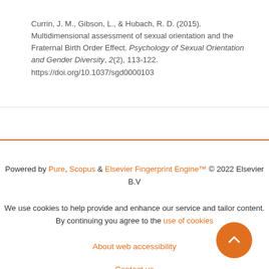Currin, J. M., Gibson, L., & Hubach, R. D. (2015). Multidimensional assessment of sexual orientation and the Fraternal Birth Order Effect. Psychology of Sexual Orientation and Gender Diversity, 2(2), 113-122. https://doi.org/10.1037/sgd0000103
Powered by Pure, Scopus & Elsevier Fingerprint Engine™ © 2022 Elsevier B.V
We use cookies to help provide and enhance our service and tailor content. By continuing you agree to the use of cookies
About web accessibility
Contact us